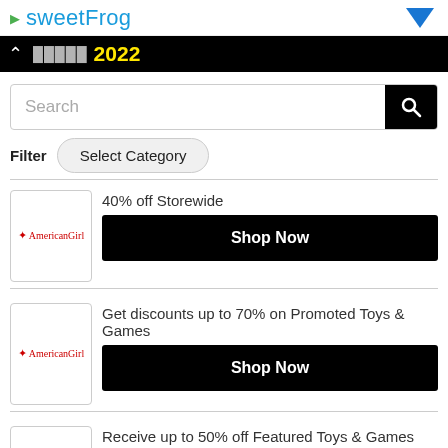sweetFrog
[Figure (screenshot): Black bar with '2022' in yellow text and a chevron/up arrow on the left]
Search
Filter  Select Category
40% off Storewide
Shop Now
Get discounts up to 70% on Promoted Toys & Games
Shop Now
Receive up to 50% off Featured Toys & Games